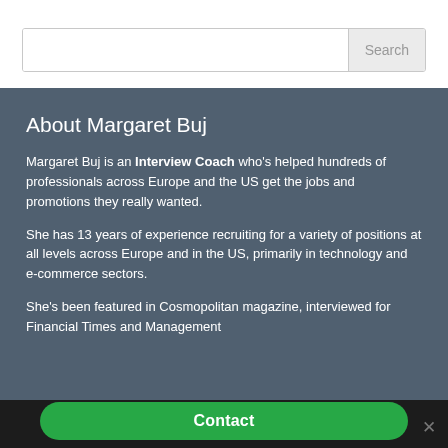Search
About Margaret Buj
Margaret Buj is an Interview Coach who's helped hundreds of professionals across Europe and the US get the jobs and promotions they really wanted.
She has 13 years of experience recruiting for a variety of positions at all levels across Europe and in the US, primarily in technology and e-commerce sectors.
She's been featured in Cosmopolitan magazine, interviewed for Financial Times and Management
Contact